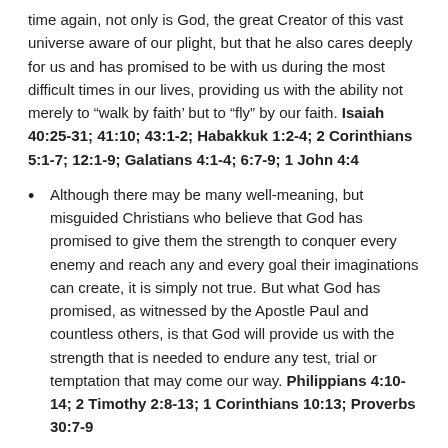time again, not only is God, the great Creator of this vast universe aware of our plight, but that he also cares deeply for us and has promised to be with us during the most difficult times in our lives, providing us with the ability not merely to “walk by faith’ but to “fly” by our faith. Isaiah 40:25-31; 41:10; 43:1-2; Habakkuk 1:2-4; 2 Corinthians 5:1-7; 12:1-9; Galatians 4:1-4; 6:7-9; 1 John 4:4
Although there may be many well-meaning, but misguided Christians who believe that God has promised to give them the strength to conquer every enemy and reach any and every goal their imaginations can create, it is simply not true. But what God has promised, as witnessed by the Apostle Paul and countless others, is that God will provide us with the strength that is needed to endure any test, trial or temptation that may come our way. Philippians 4:10-14; 2 Timothy 2:8-13; 1 Corinthians 10:13; Proverbs 30:7-9